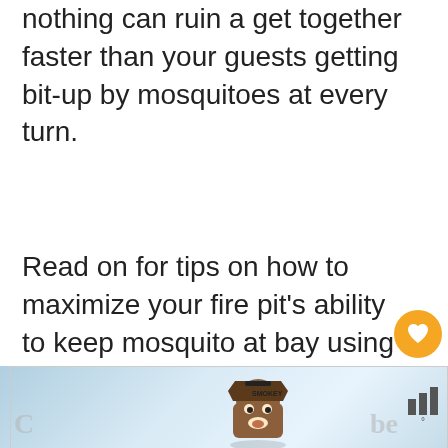nothing can ruin a get together faster than your guests getting bit-up by mosquitoes at every turn.
Read on for tips on how to maximize your fire pit's ability to keep mosquito at bay using certain types of wood an a few other “secret ingredients.”
[Figure (other): Orange heart/like button icon]
15
[Figure (other): Share button icon (circular with share symbol)]
[Figure (other): What's Next widget showing a thumbnail image with label 'WHAT'S NEXT →' and title 'How to Reduce Fire...']
[Figure (other): Advertisement banner with Smokey Bear character, sky background, partial text 'C' on left and 'be' on right, with bar-graph logo and degree symbol on the right side]